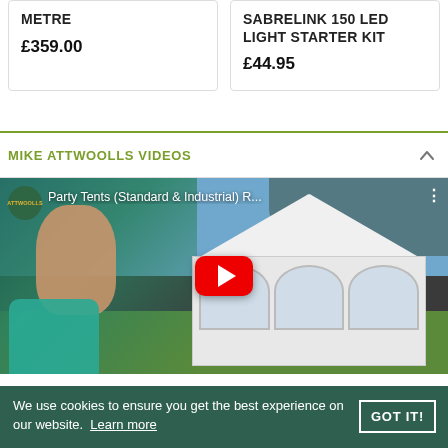METRE
£359.00
SABRELINK 150 LED LIGHT STARTER KIT
£44.95
MIKE ATTWOOLLS VIDEOS
[Figure (screenshot): YouTube video thumbnail showing a man in a teal polo shirt on the left and a white party tent on the right. Video title: Party Tents (Standard & Industrial) R... with Attwoolls logo and YouTube play button overlay.]
We use cookies to ensure you get the best experience on our website. Learn more